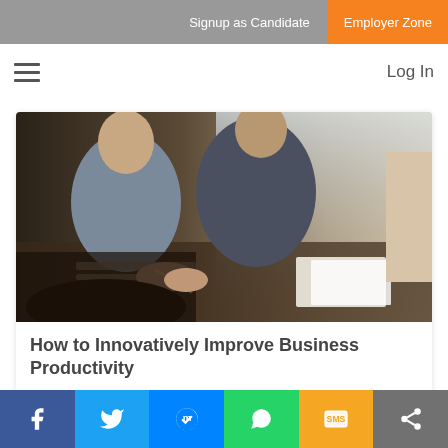Signup as Candidate | Employer Zone
☰  Log In
[Figure (photo): People sitting at a wooden table writing and working together, viewed from the side at close range]
How to Innovatively Improve Business Productivity
Productivity is a term that many business owner are acutely aware of. Running a...